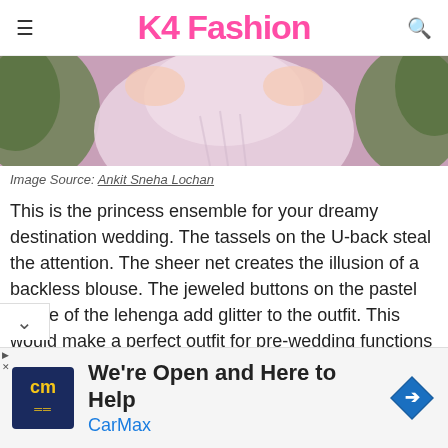K4 Fashion
[Figure (photo): Partial photo of a woman in a light pink/lavender lehenga, cropped showing the outfit from shoulders down, with green foliage background]
Image Source: Ankit Sneha Lochan
This is the princess ensemble for your dreamy destination wedding. The tassels on the U-back steal the attention. The sheer net creates the illusion of a backless blouse. The jeweled buttons on the pastel shade of the lehenga add glitter to the outfit. This would make a perfect outfit for pre-wedding functions like Mehndi or Sangeet. Wrap your hair into an up-do to flaunt the gorgeous blouse back.
[Figure (infographic): CarMax advertisement banner: 'We're Open and Here to Help' with CarMax logo and navigation arrow icon]